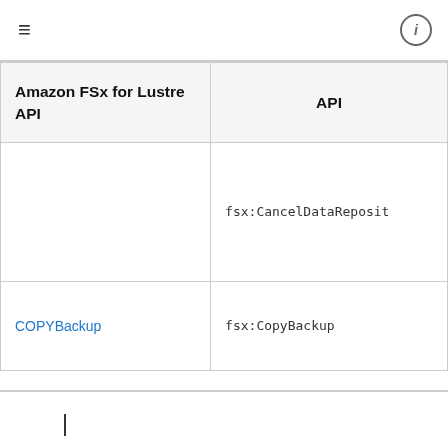≡  ⓘ
| Amazon FSx for Lustre API | API |
| --- | --- |
|  | fsx:CancelDataReposit... |
| COPYBackup | fsx:CopyBackup |